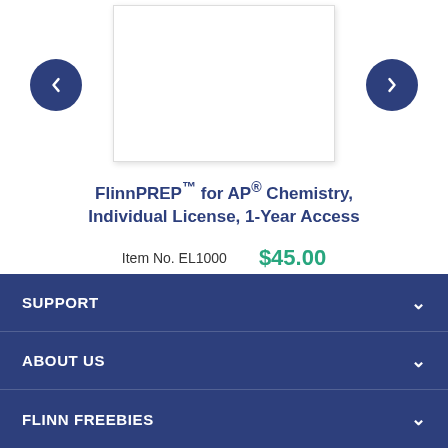[Figure (other): Product image carousel with left and right navigation arrow buttons and a white product image box in the center]
FlinnPREP™ for AP® Chemistry, Individual License, 1-Year Access
Item No. EL1000   $45.00
SUPPORT
ABOUT US
FLINN FREEBIES